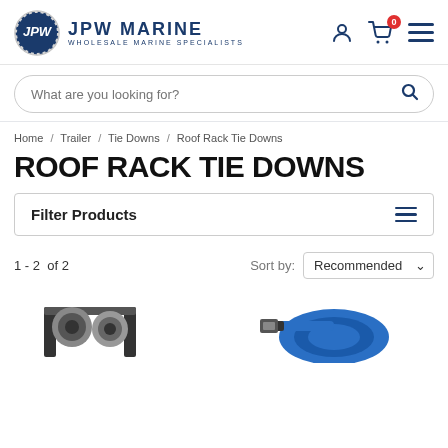[Figure (logo): JPW Marine logo with circular rope-bordered emblem and text 'JPW MARINE WHOLESALE MARINE SPECIALISTS']
What are you looking for?
Home / Trailer / Tie Downs / Roof Rack Tie Downs
ROOF RACK TIE DOWNS
Filter Products
1 - 2  of 2
Sort by: Recommended
[Figure (photo): Product thumbnail showing roof rack tie down straps with black and grey components]
[Figure (photo): Product thumbnail showing blue roof rack tie down straps coiled together]